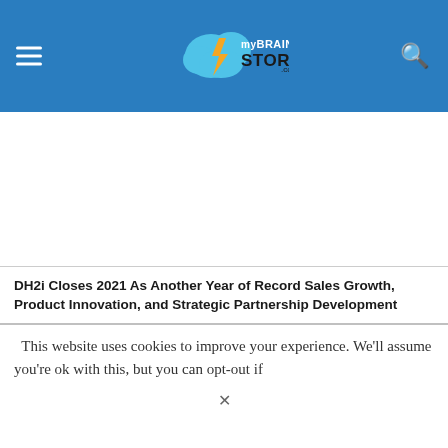myBrainStorm.com
DH2i Closes 2021 As Another Year of Record Sales Growth, Product Innovation, and Strategic Partnership Development
This website uses cookies to improve your experience. We'll assume you're ok with this, but you can opt-out if